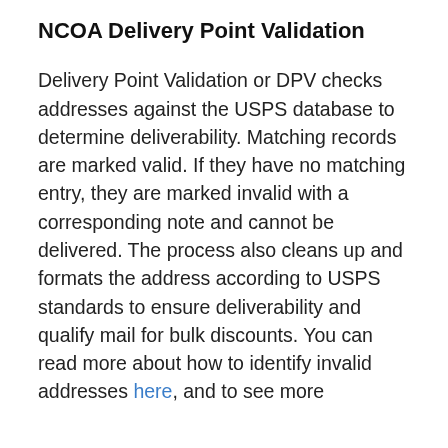NCOA Delivery Point Validation
Delivery Point Validation or DPV checks addresses against the USPS database to determine deliverability. Matching records are marked valid. If they have no matching entry, they are marked invalid with a corresponding note and cannot be delivered. The process also cleans up and formats the address according to USPS standards to ensure deliverability and qualify mail for bulk discounts. You can read more about how to identify invalid addresses here, and to see more